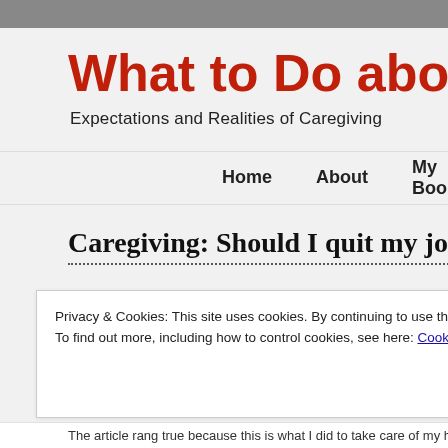What to Do abou
Expectations and Realities of Caregiving
Home  About  My Books  Blog
Caregiving: Should I quit my job?
Privacy & Cookies: This site uses cookies. By continuing to use this website, you agree to their use.
To find out more, including how to control cookies, see here: Cookie Policy
Close and accept
The article rang true because this is what I did to take care of my husban